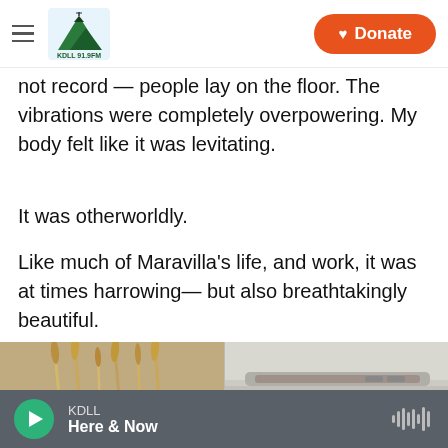KDLL [logo] Donate
not record — people lay on the floor. The vibrations were completely overpowering. My body felt like it was levitating.
It was otherworldly.
Like much of Maravilla's life, and work, it was at times harrowing— but also breathtakingly beautiful.
Copyright 2022 NPR. To see more, visit https://www.npr.org.
[Figure (photo): Two side-by-side photos at bottom of page, partially cropped. Left photo shows dried grass or wheat stalks. Right photo shows a close-up of a mechanical or furniture surface with a handle or rail.]
KDLL Here & Now [audio player bar]